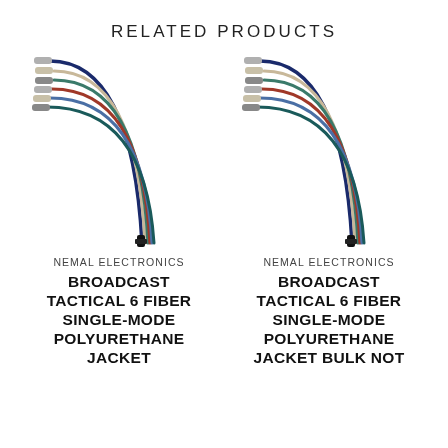RELATED PRODUCTS
[Figure (photo): Fiber optic cable assembly with multiple colored fibers fanning out at top and bundled into a single black connector at the bottom, arching in a curve. Left product image.]
NEMAL ELECTRONICS
BROADCAST TACTICAL 6 FIBER SINGLE-MODE POLYURETHANE JACKET
[Figure (photo): Fiber optic cable assembly with multiple colored fibers fanning out at top and bundled into a single black connector at the bottom, arching in a curve. Right product image.]
NEMAL ELECTRONICS
BROADCAST TACTICAL 6 FIBER SINGLE-MODE POLYURETHANE JACKET BULK NOT